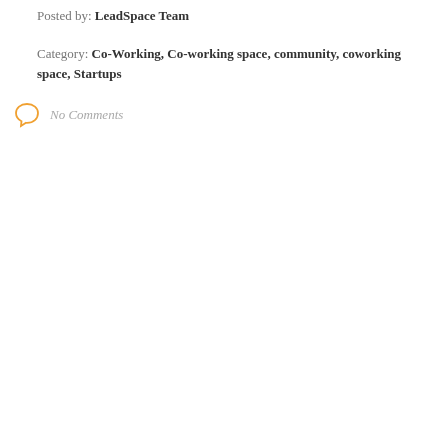Posted by: LeadSpace Team
Category: Co-Working, Co-working space, community, coworking space, Startups
No Comments